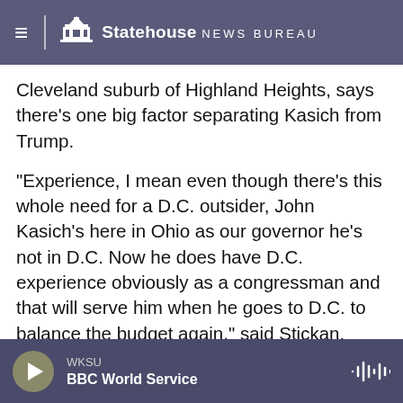Statehouse News Bureau
Cleveland suburb of Highland Heights, says there’s one big factor separating Kasich from Trump.
“Experience, I mean even though there’s this whole need for a D.C. outsider, John Kasich’s here in Ohio as our governor he’s not in D.C. Now he does have D.C. experience obviously as a congressman and that will serve him when he goes to D.C. to balance the budget again,” said Stickan.
After adding Ohio’s 66 delegates to his pot and Marco Rubio dropping out of the race, Kasich is considered the only so-called establishment
WKSU
BBC World Service